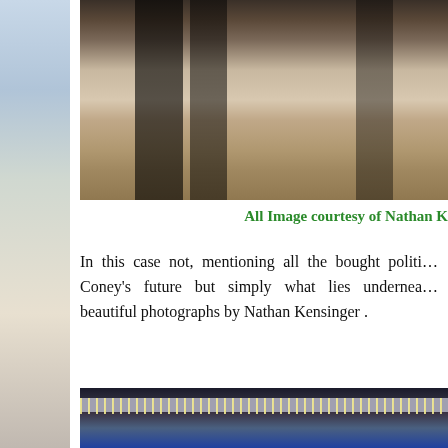[Figure (photo): Partial view of a person visible on the left edge of the page]
[Figure (photo): Photograph of an abandoned building interior with graffiti on walls and sandy/dusty floor]
All Image courtesy of Nathan K
In this case not, mentioning all the bought politi... Coney's future but simply what lies undernea... beautiful photographs by Nathan Kensinger .
[Figure (photo): Photograph of a cluttered space under what appears to be a boardwalk or structure, with tarpaulins, debris, and string lights visible]